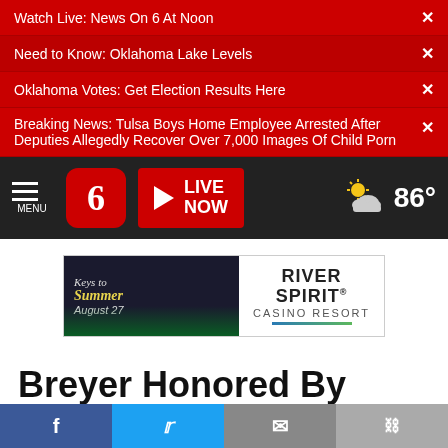Watch Live: News On 6 At Noon ✕
Need to Know: Oklahoma Lake Levels ✕
Oklahoma Votes: Get Election Results Here ✕
Breaking News: Tulsa Boys Home Employee Arrested After Deputies Allegedly Recover Over 7,000 Images Of Child Porn ✕
MENU | 6 | LIVE NOW | 86°
[Figure (screenshot): Advertisement for Keys to Summer August 27 at River Spirit Casino Resort]
Breyer Honored By Chief Justice In Final Oral Argument
Facebook | Twitter | Email | Link